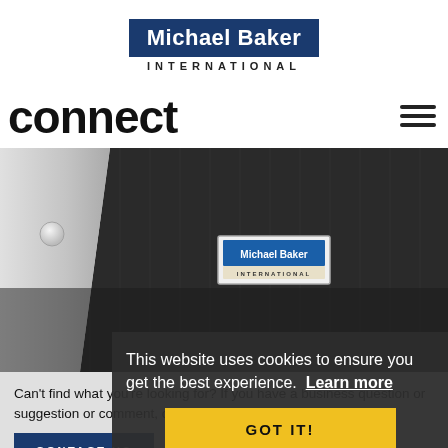[Figure (logo): Michael Baker International logo - white text on dark blue rectangle with INTERNATIONAL in spaced caps below]
connect
[Figure (photo): Close-up photo of a person wearing a dark pinstripe suit jacket with white shirt visible, featuring a Michael Baker International lapel pin badge]
Can't find what you're looking for? If you have a business question or suggestion or comment, our colleagues are available to assist.
[Figure (screenshot): CONTACT US button (dark blue background, white text)]
This website uses cookies to ensure you get the best experience.  Learn more
[Figure (screenshot): GOT IT! button (yellow background, dark text)]